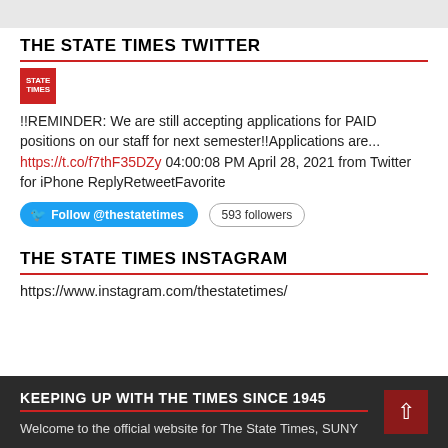THE STATE TIMES TWITTER
[Figure (logo): Red square logo with white text for The State Times]
!!REMINDER: We are still accepting applications for PAID positions on our staff for next semester!!Applications are... https://t.co/f7thF35DZy 04:00:08 PM April 28, 2021 from Twitter for iPhone ReplyRetweetFavorite
Follow @thestatetimes  593 followers
THE STATE TIMES INSTAGRAM
https://www.instagram.com/thestatetimes/
KEEPING UP WITH THE TIMES SINCE 1945
Welcome to the official website for The State Times, SUNY